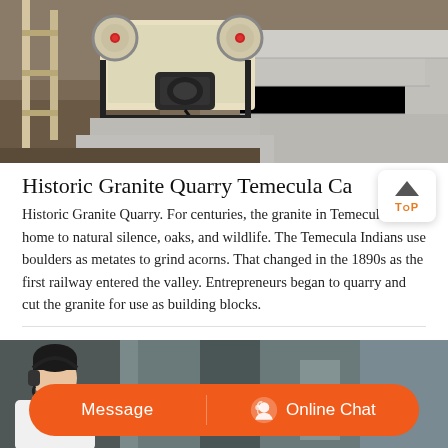[Figure (photo): Industrial rock crushing machine (jaw crusher) sitting on concrete blocks at a quarry site, with dirt and wooden scaffolding visible in the background.]
Historic Granite Quarry Temecula Ca
Historic Granite Quarry. For centuries, the granite in Temeculas hills home to natural silence, oaks, and wildlife. The Temecula Indians use boulders as metates to grind acorns. That changed in the 1890s as the first railway entered the valley. Entrepreneurs began to quarry and cut the granite for use as building blocks.
[Figure (photo): Bottom portion: a woman wearing a headset (customer service representative) on the left, with an orange rounded chat bar showing 'Message' on the left and 'Online Chat' on the right with a headset icon.]